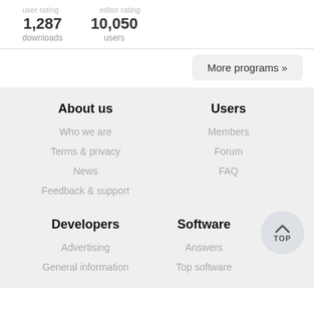user rating   editor rating
1,287 downloads   10,050 users
More programs »
About us
Who we are
Terms & privacy
News
Feedback & support
Users
Members
Forum
FAQ
Developers
Advertising
General information
Software
Answers
Top software